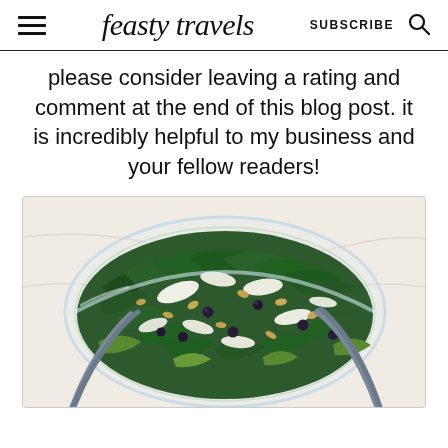feasty travels  SUBSCRIBE
please consider leaving a rating and comment at the end of this blog post. it is incredibly helpful to my business and your fellow readers!
[Figure (photo): Overhead view of a glass bowl containing a green kale salad with pine nuts, shaved parmesan cheese, dried cranberries, and lettuce, with tongs visible in the bowl.]